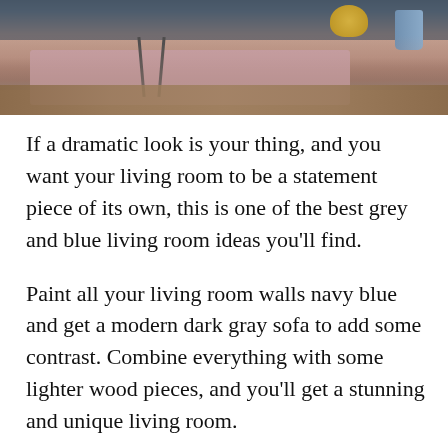[Figure (photo): Top portion of a living room photo showing a pink/mauve rug on a wooden floor, a chair with dark metal legs, a gold/brass bowl, and a blue-grey ceramic cup on what appears to be a shelf or surface. Dark background at the top.]
If a dramatic look is your thing, and you want your living room to be a statement piece of its own, this is one of the best grey and blue living room ideas you'll find.
Paint all your living room walls navy blue and get a modern dark gray sofa to add some contrast. Combine everything with some lighter wood pieces, and you'll get a stunning and unique living room.
Just ensure that your room gets enough natural (and artificial) light to let the room truly shine.